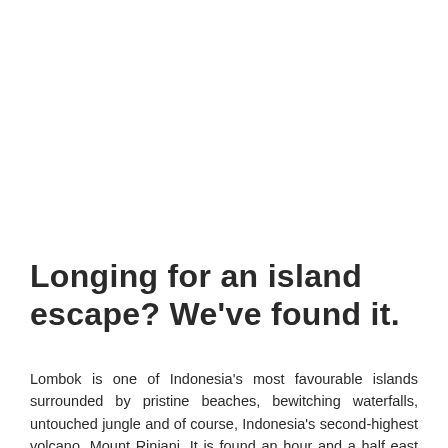Longing for an island escape? We've found it.
Lombok is one of Indonesia's most favourable islands surrounded by pristine beaches, bewitching waterfalls, untouched jungle and of course, Indonesia's second-highest volcano, Mount Rinjani. It is found an hour and a half east off